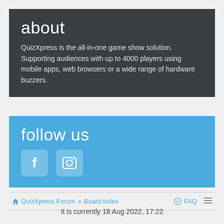about
QuizXpress is the all-in-one game show solution. Supporting audiences with up to 4000 players using mobile apps, web browsers or a wide range of hardware buzzers.
follow us
[Figure (illustration): Two social media icons: Facebook and Instagram, displayed as rounded square icons on a blue background]
QuizXpress Forum » Board index  FAQ
It is currently 18 Aug 2022, 17:22